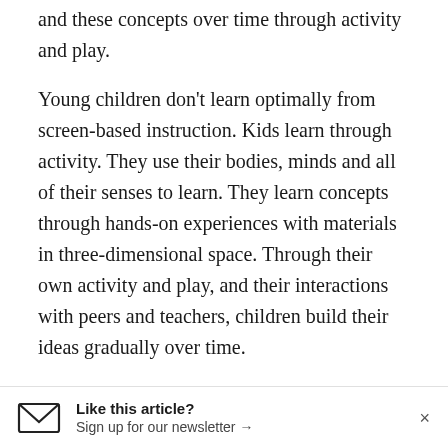and these concepts over time through activity and play.
Young children don't learn optimally from screen-based instruction. Kids learn through activity. They use their bodies, minds and all of their senses to learn. They learn concepts through hands-on experiences with materials in three-dimensional space. Through their own activity and play, and their interactions with peers and teachers, children build their ideas gradually over time.
Many of the online pre-K programs encourage parents to put their kids in front of computers to do academic drills even if they are in a preschool setting. But if parents really want to help their kids
Like this article? Sign up for our newsletter →